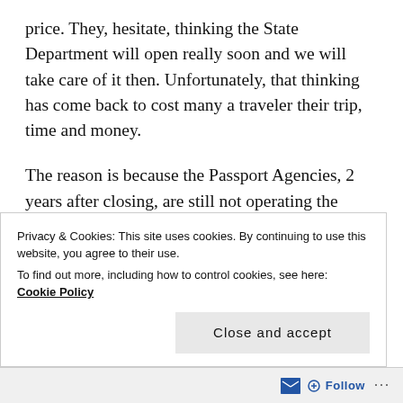price. They, hesitate, thinking the State Department will open really soon and we will take care of it then. Unfortunately, that thinking has come back to cost many a traveler their trip, time and money.
The reason is because the Passport Agencies, 2 years after closing, are still not operating the same as they were Pre-Covid. For example, the Miami Passport Agency used to allow walk ins every day. Now the first thing you see when you go there is a sign stating they will only see you if you have an appointment. No walk ins are allowed. The agencies are now only taking
Privacy & Cookies: This site uses cookies. By continuing to use this website, you agree to their use.
To find out more, including how to control cookies, see here: Cookie Policy
Close and accept
Follow ···